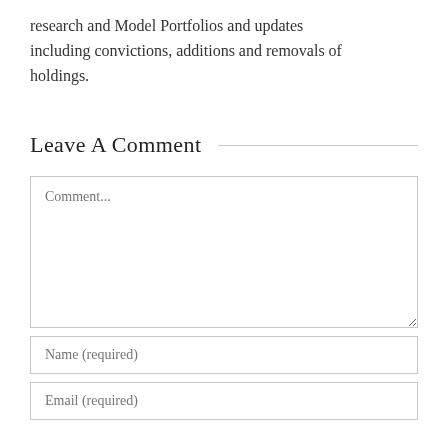research and Model Portfolios and updates including convictions, additions and removals of holdings.
Leave A Comment
Comment...
Name (required)
Email (required)